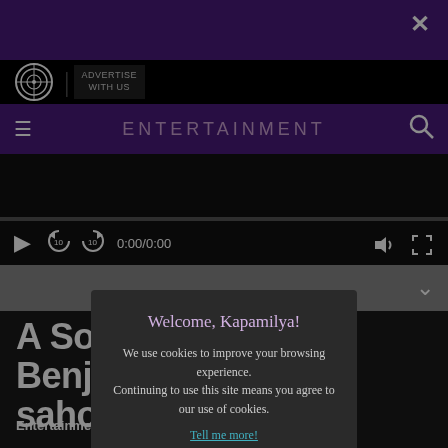ENTERTAINMENT
[Figure (screenshot): Video player with play/back/forward controls and time display 0:00/0:00]
Welcome, Kapamilya!
We use cookies to improve your browsing experience. Continuing to use this site means you agree to our use of cookies.
Tell me more!
I AGREE!
A Solo... at Benjie... te ng sahoc...
Entertainment.ABS-CBN.com January 28, 2020 11:01PM